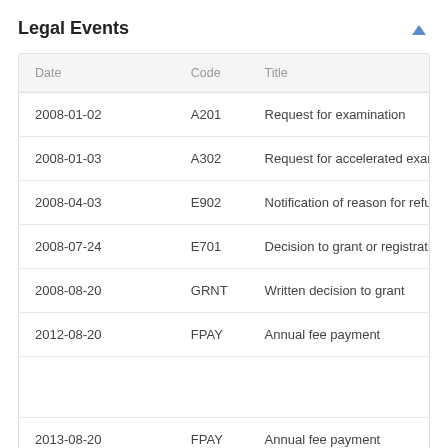Legal Events
| Date | Code | Title |
| --- | --- | --- |
| 2008-01-02 | A201 | Request for examination |
| 2008-01-03 | A302 | Request for accelerated examination |
| 2008-04-03 | E902 | Notification of reason for refusal |
| 2008-07-24 | E701 | Decision to grant or registration of patent rig |
| 2008-08-20 | GRNT | Written decision to grant |
| 2012-08-20 | FPAY | Annual fee payment |
| 2013-08-20 | FPAY | Annual fee payment |